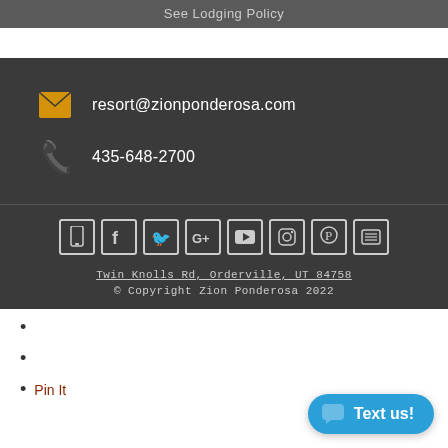See Lodging Policy
resort@zionponderosa.com
435-648-2700
[Figure (infographic): Social media icon row: mobile/phone icon, Facebook, Twitter, Google+, YouTube, Instagram, Pinterest, menu/blog icon]
Twin Knolls Rd, Orderville, UT 84758
© Copyright Zion Ponderosa 2022
Pin It